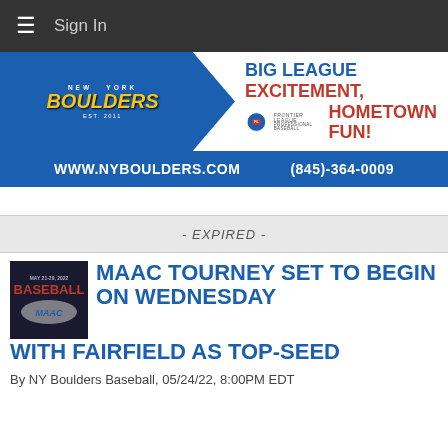Sign In
[Figure (illustration): New York Boulders baseball team advertisement banner. Shows Boulders pennant logo on left, text 'BIG LEAGUE EXCITEMENT, HOMETOWN FUN!' on right with Frontier League logo. Bottom blue bar shows www.nyboulders.com and (845)-364-0009]
- EXPIRED -
MAAC TOURNEY SET TO BEGIN ON WEDNESDAY WITH FAIRFIELD AS TOP-SEED
By NY Boulders Baseball, 05/24/22, 8:00PM EDT